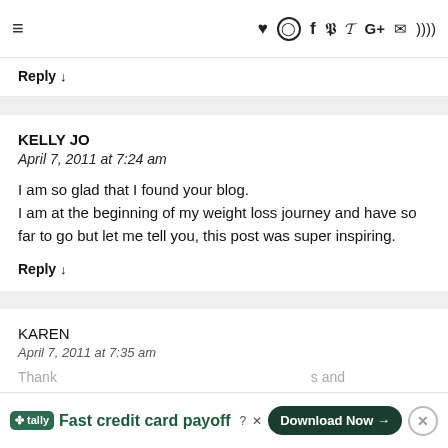≡ ♥ Instagram Facebook Pinterest Twitter G+ Email RSS
Reply ↓
KELLY JO
April 7, 2011 at 7:24 am

I am so glad that I found your blog.
I am at the beginning of my weight loss journey and have so far to go but let me tell you, this post was super inspiring.
Reply ↓
KAREN
April 7, 2011 at 7:35 am
Thank … s and